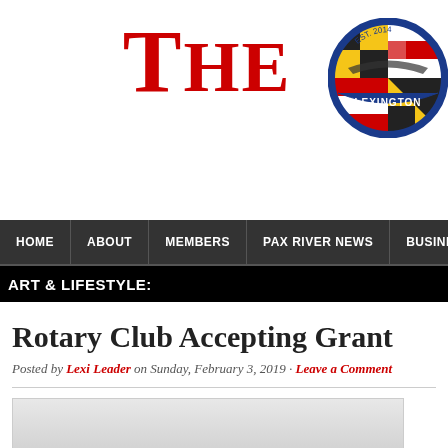The Lexington (website header with logo)
HOME | ABOUT | MEMBERS | PAX RIVER NEWS | BUSINESS | COMMUN...
ART & LIFESTYLE:
Rotary Club Accepting Grant
Posted by Lexi Leader on Sunday, February 3, 2019 · Leave a Comment
[Figure (photo): Photo of US dollar bills fanned out on a gray gradient background, shown in two separate stacks on left and right of frame.]